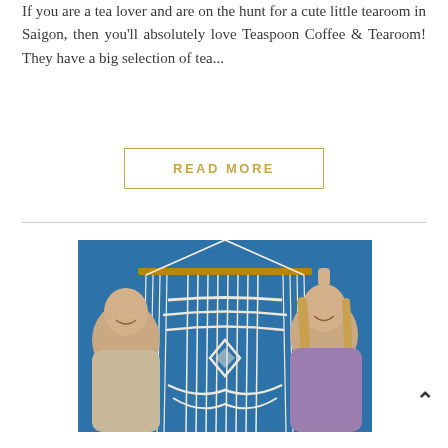If you are a tea lover and are on the hunt for a cute little tearoom in Saigon, then you'll absolutely love Teaspoon Coffee & Tearoom! They have a big selection of tea...
READ MORE
[Figure (photo): Two women smiling and holding up a large macrame wall hanging in front of a blue wall. The woman on the left wears a beige top, the woman on the right wears a purple top.]